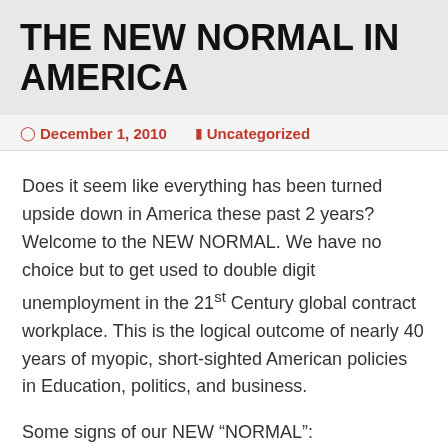THE NEW NORMAL IN AMERICA
December 1, 2010   Uncategorized
Does it seem like everything has been turned upside down in America these past 2 years? Welcome to the NEW NORMAL. We have no choice but to get used to double digit unemployment in the 21st Century global contract workplace. This is the logical outcome of nearly 40 years of myopic, short-sighted American policies in Education, politics, and business.
Some signs of our NEW “NORMAL”:
The cost of a four year education skyrockets